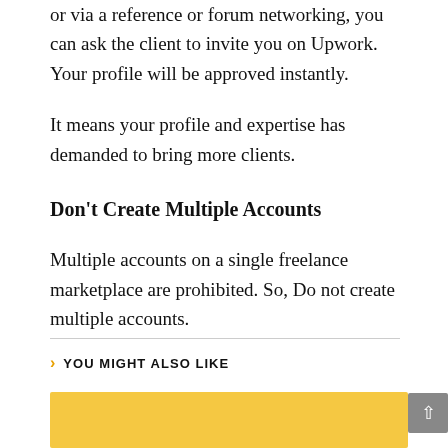or via a reference or forum networking, you can ask the client to invite you on Upwork. Your profile will be approved instantly.
It means your profile and expertise has demanded to bring more clients.
Don't Create Multiple Accounts
Multiple accounts on a single freelance marketplace are prohibited. So, Do not create multiple accounts.
YOU MIGHT ALSO LIKE